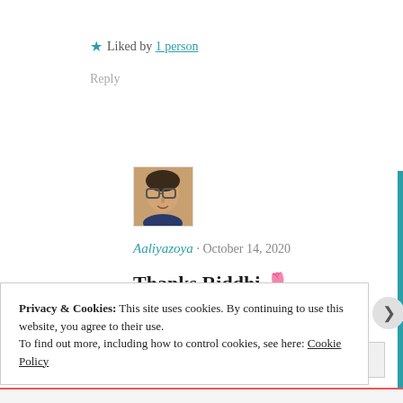★ Liked by 1 person
Reply
[Figure (photo): Small square avatar photo of a person with glasses]
Aaliyazoya · October 14, 2020
Thanks Riddhi 🌷
★ Liked by 1 person
Reply
Privacy & Cookies: This site uses cookies. By continuing to use this website, you agree to their use.
To find out more, including how to control cookies, see here: Cookie Policy
Close and accept